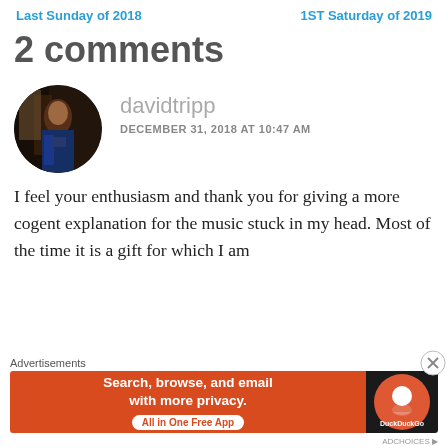Last Sunday of 2018    1ST Saturday of 2019
2 comments
[Figure (photo): Circular avatar photo of a person sitting in a dimly lit room]
davidtripp
DECEMBER 31, 2018 AT 10:47 AM
I feel your enthusiasm and thank you for giving a more cogent explanation for the music stuck in my head. Most of the time it is a gift for which I am
[Figure (infographic): DuckDuckGo advertisement banner: Search, browse, and email with more privacy. All in One Free App]
Advertisements